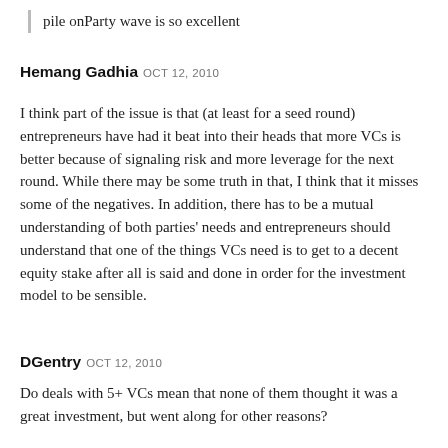pile onParty wave is so excellent
Hemang Gadhia OCT 12, 2010
I think part of the issue is that (at least for a seed round) entrepreneurs have had it beat into their heads that more VCs is better because of signaling risk and more leverage for the next round. While there may be some truth in that, I think that it misses some of the negatives. In addition, there has to be a mutual understanding of both parties' needs and entrepreneurs should understand that one of the things VCs need is to get to a decent equity stake after all is said and done in order for the investment model to be sensible.
DGentry OCT 12, 2010
Do deals with 5+ VCs mean that none of them thought it was a great investment, but went along for other reasons?